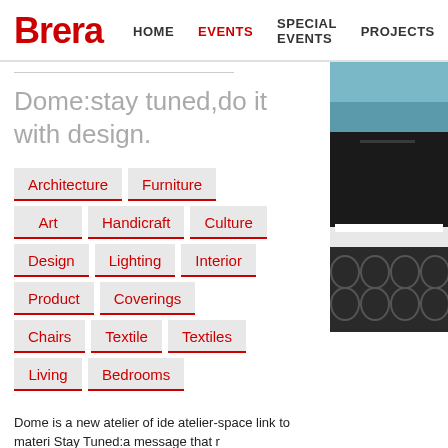Brera | HOME | EVENTS | SPECIAL EVENTS | PROJECTS
Dome:stay tuned,do it with design.
Architecture
Furniture
Art
Handicraft
Culture
Design
Lighting
Interior
Product
Coverings
Chairs
Textile
Textiles
Living
Bedrooms
[Figure (photo): Interior design photo showing dark furniture and geometric patterns]
Dome is a new atelier of ide... atelier-space link to materi... Stay Tuned:a message that r...